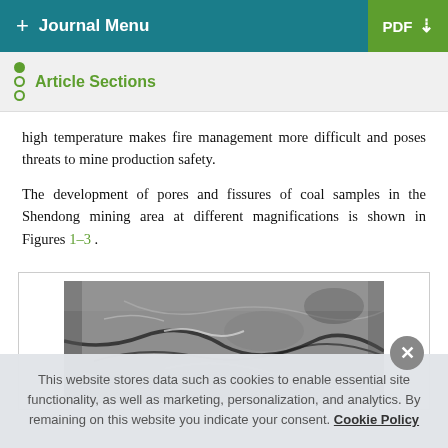+ Journal Menu | PDF
Article Sections
high temperature makes fire management more difficult and poses threats to mine production safety.
The development of pores and fissures of coal samples in the Shendong mining area at different magnifications is shown in Figures 1–3 .
[Figure (photo): Scanning electron microscope (SEM) image of coal sample showing pores and fissures at magnification, grayscale image with visible crack structures.]
This website stores data such as cookies to enable essential site functionality, as well as marketing, personalization, and analytics. By remaining on this website you indicate your consent. Cookie Policy